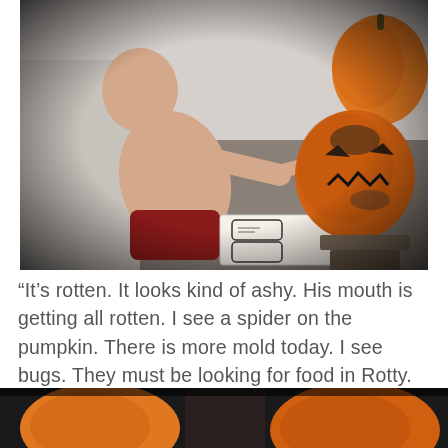[Figure (photo): A shirtless boy sitting outdoors drawing or writing on paper, with carved and uncarved pumpkins visible beside him. The photo has a dark vignette border.]
“It’s rotten. It looks kind of ashy. His mouth is getting all rotten. I see a spider on the pumpkin. There is more mold today. I see bugs. They must be looking for food in Rotty. He feels soft.”
[Figure (photo): Partial bottom strip of a photo showing pumpkins, cropped at the bottom of the page.]